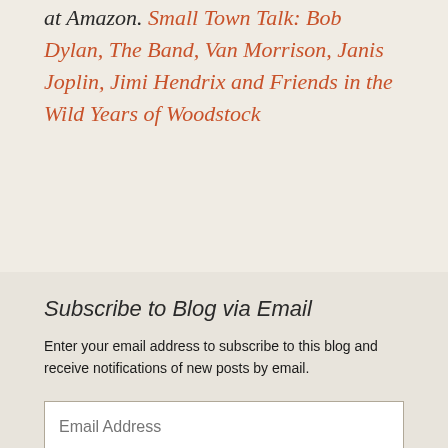at Amazon. Small Town Talk: Bob Dylan, The Band, Van Morrison, Janis Joplin, Jimi Hendrix and Friends in the Wild Years of Woodstock
Subscribe to Blog via Email
Enter your email address to subscribe to this blog and receive notifications of new posts by email.